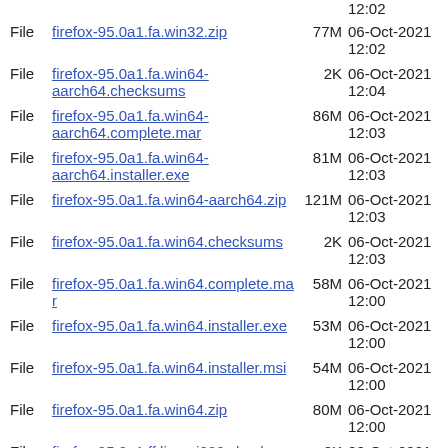File  firefox-95.0a1.fa.win32.zip  77M  06-Oct-2021 12:02
File  firefox-95.0a1.fa.win64-aarch64.checksums  2K  06-Oct-2021 12:04
File  firefox-95.0a1.fa.win64-aarch64.complete.mar  86M  06-Oct-2021 12:03
File  firefox-95.0a1.fa.win64-aarch64.installer.exe  81M  06-Oct-2021 12:03
File  firefox-95.0a1.fa.win64-aarch64.zip  121M  06-Oct-2021 12:03
File  firefox-95.0a1.fa.win64.checksums  2K  06-Oct-2021 12:03
File  firefox-95.0a1.fa.win64.complete.mar  58M  06-Oct-2021 12:00
File  firefox-95.0a1.fa.win64.installer.exe  53M  06-Oct-2021 12:00
File  firefox-95.0a1.fa.win64.installer.msi  54M  06-Oct-2021 12:00
File  firefox-95.0a1.fa.win64.zip  80M  06-Oct-2021 12:00
File  firefox-95.0a1.ff.linux-i686.checksums  2K  06-Oct-2021 11:55